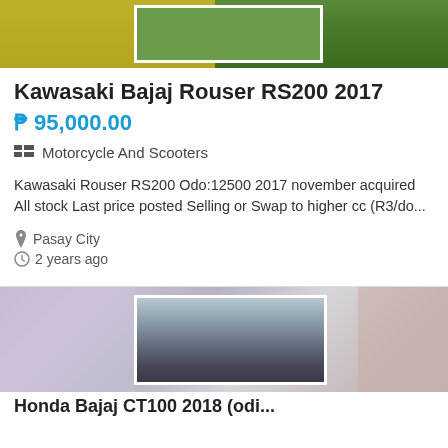[Figure (photo): Motorcycle listing image, blurred background with yellow and green colors, white-bordered inset photo]
Kawasaki Bajaj Rouser RS200 2017
₱ 95,000.00
Motorcycle And Scooters
Kawasaki Rouser RS200 Odo:12500 2017 november acquired All stock Last price posted Selling or Swap to higher cc (R3/do...
Pasay City
2 years ago
[Figure (photo): Second motorcycle listing image, blurred background with graffiti wall, white-bordered inset photo of dark motorcycle]
Honda Bajaj CT100 2018 (odi...